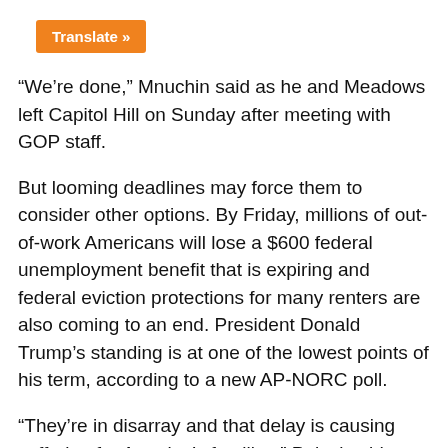[Figure (other): Orange 'Translate »' button]
“We’re done,” Mnuchin said as he and Meadows left Capitol Hill on Sunday after meeting with GOP staff.
But looming deadlines may force them to consider other options. By Friday, millions of out-of-work Americans will lose a $600 federal unemployment benefit that is expiring and federal eviction protections for many renters are also coming to an end. President Donald Trump’s standing is at one of the lowest points of his term, according to a new AP-NORC poll.
“They’re in disarray and that delay is causing suffering for America’s families,” Pelosi said.
Pelosi panned the Trump administration’s desire to trim the $600 weekly unemployment boost to about 70% of pre-pandemic income. She also said she was not told...